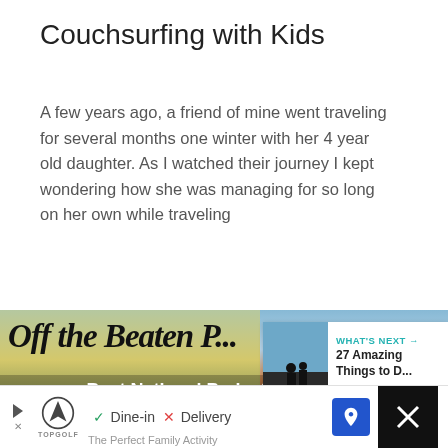Couchsurfing with Kids
A few years ago, a friend of mine went traveling for several months one winter with her 4 year old daughter. As I watched their journey I kept wondering how she was managing for so long on her own while traveling
Read More
[Figure (screenshot): Scenic outdoor image with cursive 'Off the Beaten P...' text and subtitle 'Best National Parks for Families'; overlaid WHAT'S NEXT panel for '27 Amazing Things to D...']
[Figure (infographic): Advertisement bar: Topgolf ad with Dine-in/Delivery options and navigation arrow]